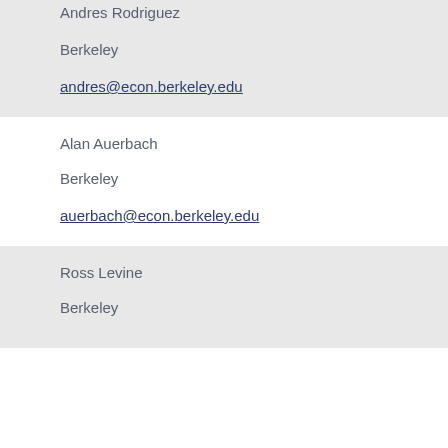Andres Rodriguez
Berkeley
andres@econ.berkeley.edu
Alan Auerbach
Berkeley
auerbach@econ.berkeley.edu
Ross Levine
Berkeley